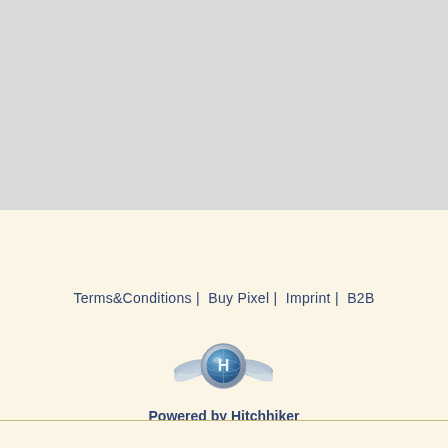[Figure (other): Gray background section, top half of page]
Terms&Conditions |  Buy Pixel |  Imprint |  B2B
[Figure (logo): Hitchhiker winged globe logo in chrome and blue]
Powered by Hitchhiker